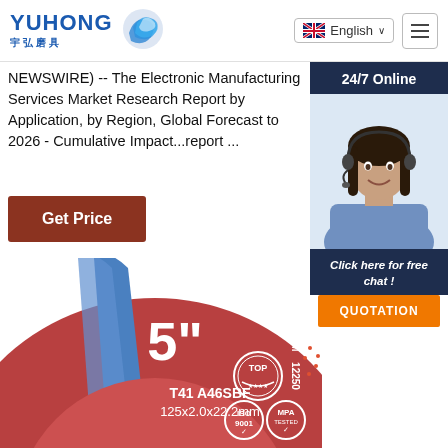[Figure (logo): YUHONG logo with blue wave icon and Chinese characters 宇弘磨具]
English
NEWSWIRE) -- The Electronic Manufacturing Services Market Research Report by Application, by Region, Global Forecast to 2026 - Cumulative Impact...report ...
Get Price
24/7 Online
[Figure (photo): Customer service woman wearing headset, smiling]
Click here for free chat !
QUOTATION
[Figure (photo): Red and blue 5 inch cutting disc with text: T41 A46SBF 125x2.0x22.2mm, R.P.M 12250, TOP, ISO 9001, MPA TESTED logos]